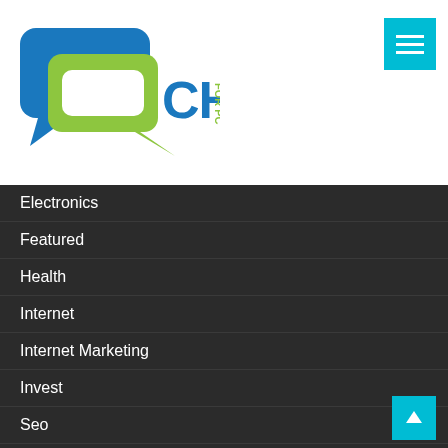[Figure (logo): Chat for PC logo with speech bubble icon in blue and green, with text CHAT FOR PC]
Electronics
Featured
Health
Internet
Internet Marketing
Invest
Seo
Social media
Software
Technology